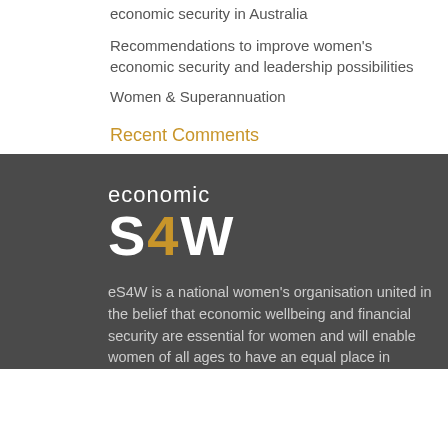economic security in Australia
Recommendations to improve women's economic security and leadership possibilities
Women & Superannuation
Recent Comments
[Figure (logo): Economic S4W logo — white text 'economic' above large 'S4W' where '4' is in gold/yellow color, on dark grey background]
eS4W is a national women's organisation united in the belief that economic wellbeing and financial security are essential for women and will enable women of all ages to have an equal place in